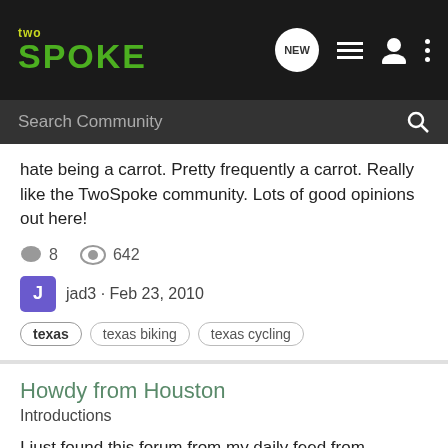two SPOKE — navigation bar with logo, NEW icon, list icon, user icon, more icon
Search Community
hate being a carrot. Pretty frequently a carrot. Really like the TwoSpoke community. Lots of good opinions out here!
8 comments · 642 views
jad3 · Feb 23, 2010
texas
texas biking
texas cycling
Howdy from Houston
Introductions
I just found this forum from my daily feed from Texbiker.net. I spend time there and at Ecovelo and the Recumbent Blog. I was doing a good job of becoming a real bike commuter, but the weather, the job, any number of excuses has got me off that status. I'm supposed to be training for the MS 150....